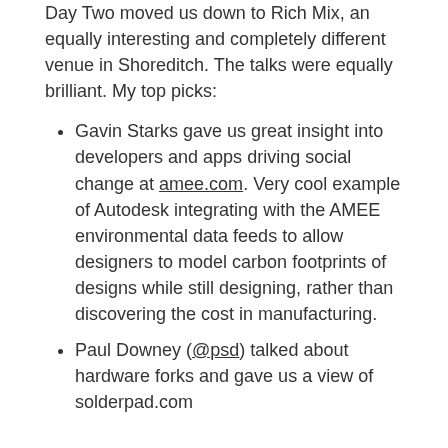Day Two moved us down to Rich Mix, an equally interesting and completely different venue in Shoreditch. The talks were equally brilliant. My top picks:
Gavin Starks gave us great insight into developers and apps driving social change at amee.com. Very cool example of Autodesk integrating with the AMEE environmental data feeds to allow designers to model carbon footprints of designs while still designing, rather than discovering the cost in manufacturing.
Paul Downey (@psd) talked about hardware forks and gave us a view of solderpad.com